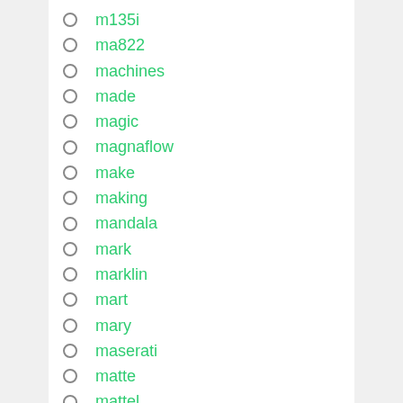m135i
ma822
machines
made
magic
magnaflow
make
making
mandala
mark
marklin
mart
mary
maserati
matte
mattel
megather
mens
mercedes